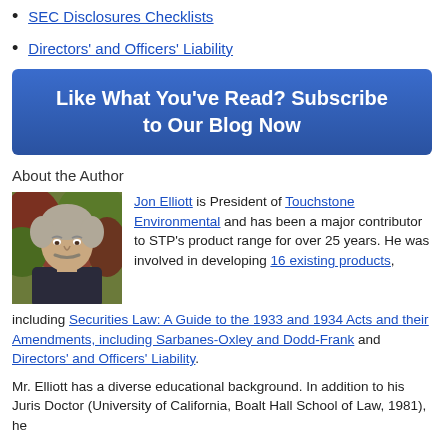SEC Disclosures Checklists
Directors' and Officers' Liability
Like What You've Read? Subscribe to Our Blog Now
About the Author
[Figure (photo): Headshot of Jon Elliott, a man with gray hair and a mustache, wearing a dark polo shirt, photographed outdoors with foliage in the background.]
Jon Elliott is President of Touchstone Environmental and has been a major contributor to STP's product range for over 25 years. He was involved in developing 16 existing products, including Securities Law: A Guide to the 1933 and 1934 Acts and their Amendments, including Sarbanes-Oxley and Dodd-Frank and Directors' and Officers' Liability.
Mr. Elliott has a diverse educational background. In addition to his Juris Doctor (University of California, Boalt Hall School of Law, 1981), he